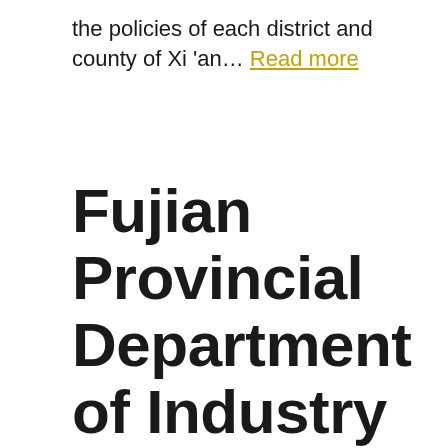the policies of each district and county of Xi 'an... Read more
Fujian Provincial Department of Industry and Information Technology announced three